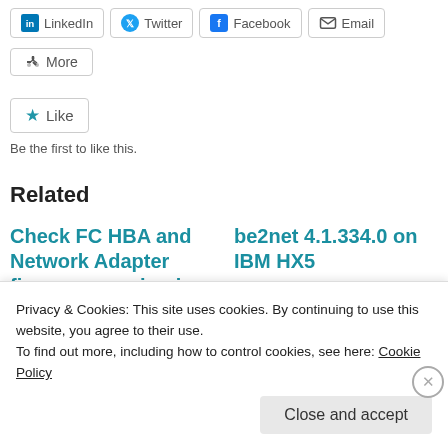[Figure (other): Row of social share buttons: LinkedIn, Twitter, Facebook, Email]
[Figure (other): More share button]
[Figure (other): Like button with star icon]
Be the first to like this.
Related
Check FC HBA and Network Adapter firmware version in
be2net 4.1.334.0 on IBM HX5
January 17, 2013
Privacy & Cookies: This site uses cookies. By continuing to use this website, you agree to their use.
To find out more, including how to control cookies, see here: Cookie Policy
Close and accept